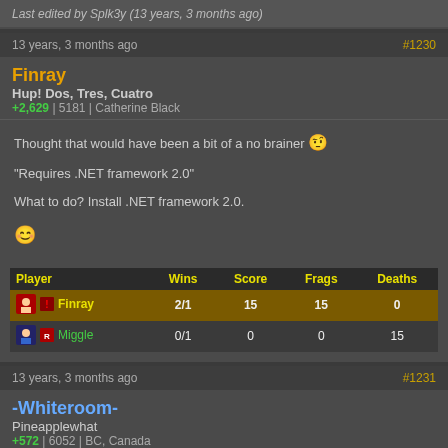Last edited by Splk3y (13 years, 3 months ago)
13 years, 3 months ago | #1230
Finray
Hup! Dos, Tres, Cuatro
+2,629 | 5181 | Catherine Black
Thought that would have been a bit of a no brainer

"Requires .NET framework 2.0"

What to do? Install .NET framework 2.0.
| Player | Wins | Score | Frags | Deaths |
| --- | --- | --- | --- | --- |
| Finray | 2/1 | 15 | 15 | 0 |
| Miggle | 0/1 | 0 | 0 | 15 |
13 years, 3 months ago | #1231
-Whiteroom-
Pineapplewhat
+572 | 6052 | BC, Canada
Finray wrote: